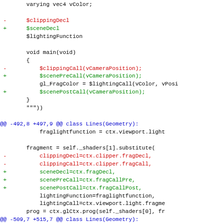Code diff showing changes to shader code involving clipping and scene declarations and function calls, and Lines(Geometry) class modifications.